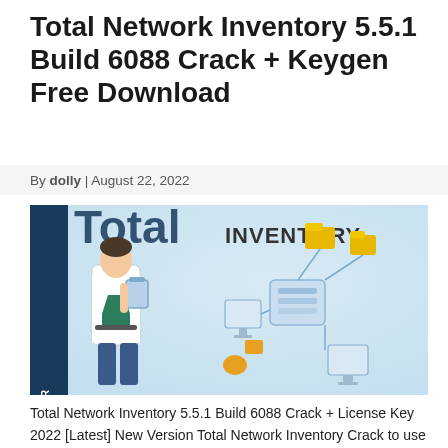Total Network Inventory 5.5.1 Build 6088 Crack + Keygen Free Download
By dolly | August 22, 2022
[Figure (screenshot): Screenshot of Total Network Inventory software box art showing a person in a lab coat holding a clipboard and a network diagram with connected computers and folders on a light blue background with the text 'Total INVENTORY' visible.]
Total Network Inventory 5.5.1 Build 6088 Crack + License Key 2022 [Latest] New Version Total Network Inventory Crack to use for Windows. Therefore, it is software and